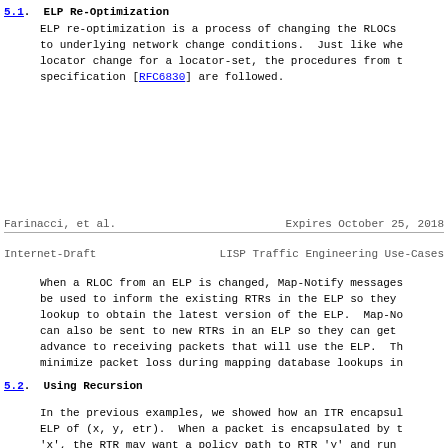5.1.  ELP Re-Optimization
ELP re-optimization is a process of changing the RLOCs to underlying network change conditions.  Just like whe locator change for a locator-set, the procedures from t specification [RFC6830] are followed.
Farinacci, et al.      Expires October 25, 2018
Internet-Draft      LISP Traffic Engineering Use-Cases
When a RLOC from an ELP is changed, Map-Notify messages be used to inform the existing RTRs in the ELP so they lookup to obtain the latest version of the ELP.  Map-No can also be sent to new RTRs in an ELP so they can get advance to receiving packets that will use the ELP.  Th minimize packet loss during mapping database lookups in
5.2.  Using Recursion
In the previous examples, we showed how an ITR encapsul ELP of (x, y, etr).  When a packet is encapsulated by t 'x', the RTR may want a policy path to RTR 'y' and run of reencapsulating tunnels for packets destined to RTR case, RTR 'x' does not encapsulate packets to 'y' but r a mapping database lookup on the address 'y' requests